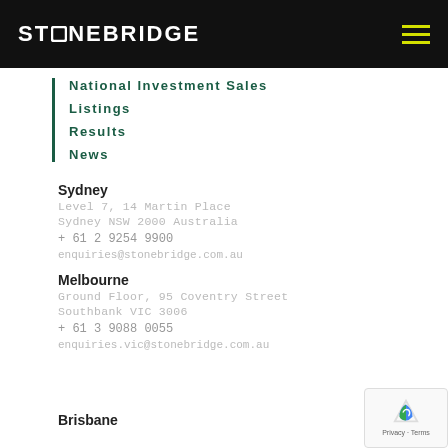STONEBRIDGE
National Investment Sales
Listings
Results
News
Sydney
Level 7, 14 Martin Place
Sydney NSW 2000 Australia
+ 61 2 9254 9900
enquiries@stonebridge.com.au
Melbourne
Ground Floor, 95 Coventry Street
Southbank VIC 3006
+ 61 3 9088 0055
enquiries.vic@stonebridge.com.au
Brisbane